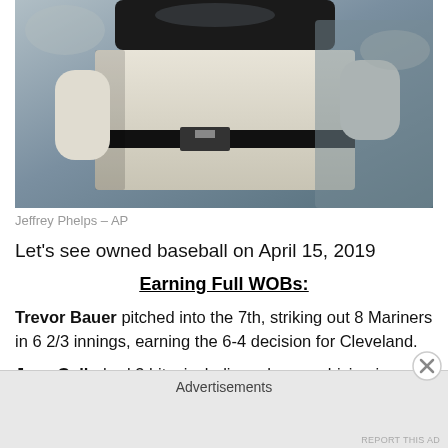[Figure (photo): Baseball player in white uniform with black belt, photographed from chest down, mid-swing or batting stance. Photo credit: Jeffrey Phelps – AP]
Jeffrey Phelps – AP
Let's see owned baseball on April 15, 2019
Earning Full WOBs:
Trevor Bauer pitched into the 7th, striking out 8 Mariners in 6 2/3 innings, earning the 6-4 decision for Cleveland.
Joey Gallo had 3 hits, including a homer, driving in a pair to lead the Rangers past the Angels in a wild 12-7 game.
Advertisements